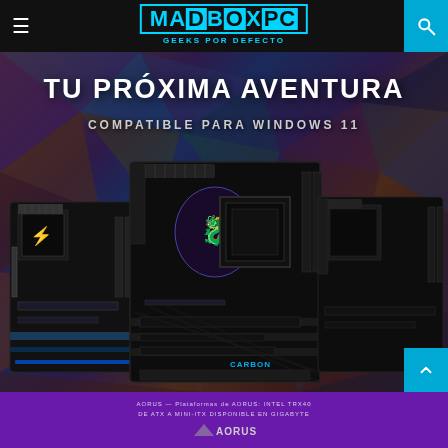MADBOXPC — GEEKS POR DEFECTO
[Figure (photo): Promotional banner showing three MSI Gaming motherboards (MAG, MPG CARBON, and another) on a dark geometric polygon background with text 'TU PRÓXIMA AVENTURA' and 'COMPATIBLE PARA WINDOWS 11']
TU PRÓXIMA AVENTURA
COMPATIBLE PARA WINDOWS 11
[Figure (photo): Bottom strip showing a purple background with small text and an AORUS logo/image]